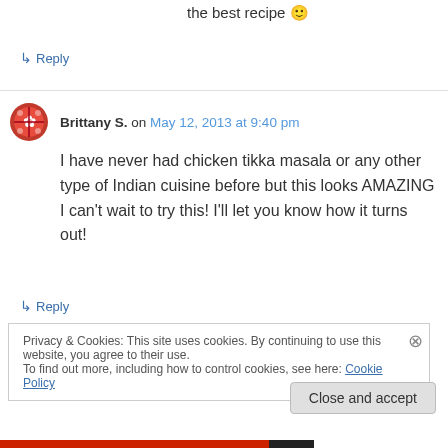the best recipe 🙂
↳ Reply
Brittany S. on May 12, 2013 at 9:40 pm
I have never had chicken tikka masala or any other type of Indian cuisine before but this looks AMAZING I can't wait to try this! I'll let you know how it turns out!
↳ Reply
Privacy & Cookies: This site uses cookies. By continuing to use this website, you agree to their use. To find out more, including how to control cookies, see here: Cookie Policy
Close and accept